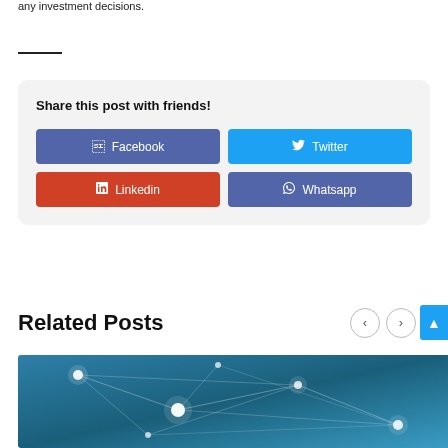any investment decisions.
Share this post with friends!
Facebook
Twitter
Linkedin
Whatsapp
Related Posts
[Figure (photo): Blue network/connectivity abstract image with glowing nodes and lines]